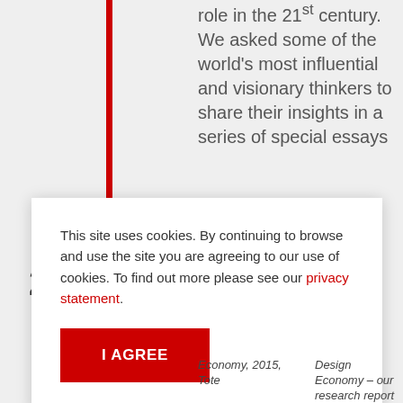role in the 21st century. We asked some of the world's most influential and visionary thinkers to share their insights in a series of special essays
20
This site uses cookies. By continuing to browse and use the site you are agreeing to our use of cookies. To find out more please see our privacy statement.
I AGREE
Economy, 2015, Tote
Design Economy – our research report